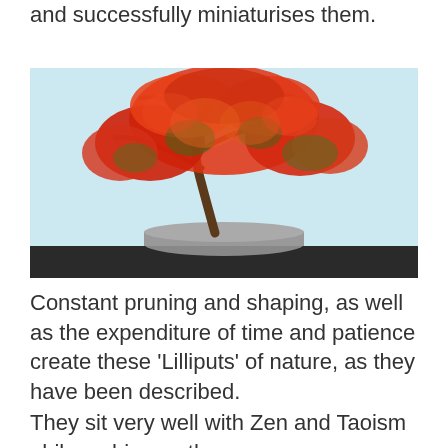and successfully miniaturises them.
[Figure (photo): A bonsai tree with vivid red and orange foliage, small trunk, displayed in a shallow grey pot on a dark wooden stand, against a light blue background.]
Constant pruning and shaping, as well as the expenditure of time and patience create these 'Lilliputs' of nature, as they have been described.
They sit very well with Zen and Taoism philosophies as they